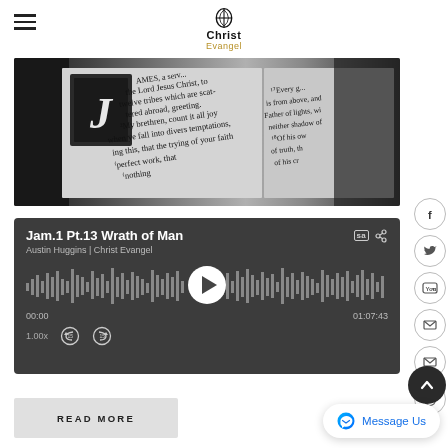Christ Evangel
[Figure (photo): Black and white close-up of a Bible open to the book of James, showing decorative drop cap letter J, with text including 'AMES, a servant of the Lord Jesus Christ, twelve tribes which are scattered abroad, greeting. 2My brethren, count it all joy when ye fall into divers temptations, knowing this, that the trying of your faith' and column to the right with 'Every good gift is from above father of lights neither shadow Of his own of truth of his cr']
[Figure (screenshot): Dark audio player widget showing 'Jam.1 Pt.13 Wrath of Man' by Austin Huggins | Christ Evangel, with SA and share badges, audio waveform visualization, play button, timestamps 00:00 and 01:07:43, speed 1.00x, and rewind/forward 15 second control buttons]
READ MORE
Message Us